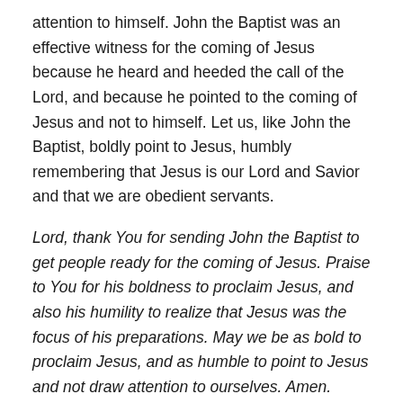attention to himself.  John the Baptist was an effective witness for the coming of Jesus because he heard and heeded the call of the Lord, and because he pointed to the coming of Jesus and not to himself.  Let us, like John the Baptist, boldly point to Jesus, humbly remembering that Jesus is our Lord and Savior and that we are obedient servants.
Lord, thank You for sending John the Baptist to get people ready for the coming of Jesus.  Praise to You for his boldness to proclaim Jesus, and also his humility to realize that Jesus was the focus of his preparations.  May we be as bold to proclaim Jesus, and as humble to point to Jesus and not draw attention to ourselves.  Amen.
Share this: